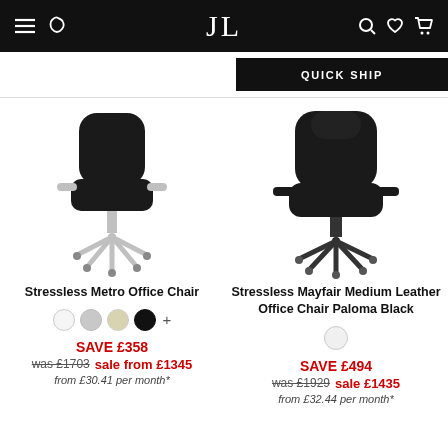JL — Quick Ship navigation header
QUICK SHIP
[Figure (photo): Black Stressless Metro Office Chair with chrome star base and casters]
Stressless Metro Office Chair
SAVE £358
was £1703 sale from £1345
from £30.41 per month*
[Figure (photo): Black Stressless Mayfair Medium Leather Office Chair with black base and casters]
Stressless Mayfair Medium Leather Office Chair Paloma Black
SAVE £494
was £1929 sale £1435
from £32.44 per month*